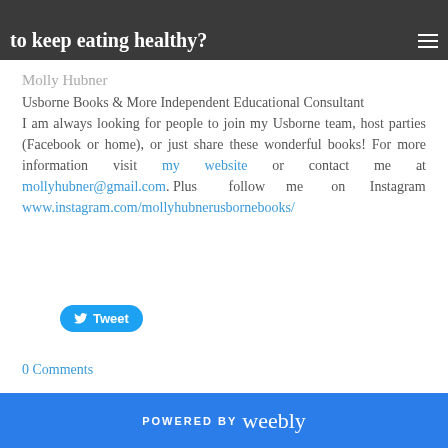to keep eating healthy?
Molly Hubner
Usborne Books & More Independent Educational Consultant
I am always looking for people to join my Usborne team, host parties (Facebook or home), or just share these wonderful books! For more information visit my website or contact me at mollyhubner@gmail.com. Plus follow me on Instagram www.instagram.com/mollyhubnerusbornebooks/
[Figure (other): Tweet button with Twitter bird icon]
0 Comments
POWERED BY weebly